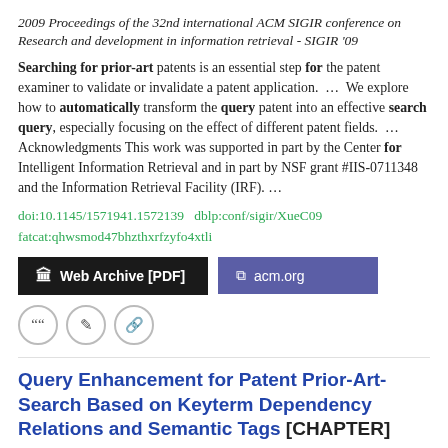2009 Proceedings of the 32nd international ACM SIGIR conference on Research and development in information retrieval - SIGIR '09
Searching for prior-art patents is an essential step for the patent examiner to validate or invalidate a patent application. ... We explore how to automatically transform the query patent into an effective search query, especially focusing on the effect of different patent fields. ... Acknowledgments This work was supported in part by the Center for Intelligent Information Retrieval and in part by NSF grant #IIS-0711348 and the Information Retrieval Facility (IRF). ...
doi:10.1145/1571941.1572139  dblp:conf/sigir/XueC09
fatcat:qhwsmod47bhzthxrfzyfo4xtli
Web Archive [PDF]    acm.org
Query Enhancement for Patent Prior-Art-Search Based on Keyterm Dependency Relations and Semantic Tags [CHAPTER]
Khanh-Ly Nguyen, Sung-Hyon Myaeng